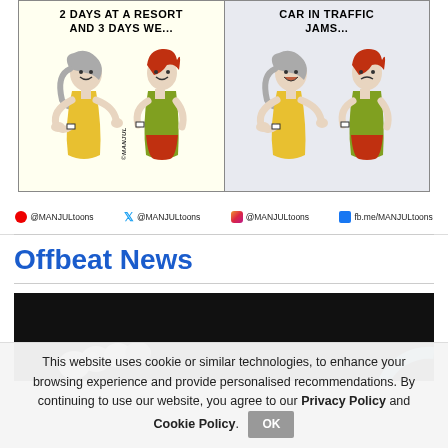[Figure (illustration): Two-panel comic strip by MANJUL. Left panel (yellow background): Two women talking, text reads '2 DAYS AT A RESORT AND 3 DAYS WE...'. Right panel (blue-grey background): Same two women talking, text reads 'CAR IN TRAFFIC JAMS...' Signature @MANJUL visible.]
| @MANJULtoons   @MANJULtoons   @MANJULtoons   fb.me/MANJULtoons
Offbeat News
[Figure (photo): Dark/black background photo with what appears to be small white/grey round objects (possibly marbles or stones) in the lower left and a partial circular shape on the right.]
This website uses cookie or similar technologies, to enhance your browsing experience and provide personalised recommendations. By continuing to use our website, you agree to our Privacy Policy and Cookie Policy.